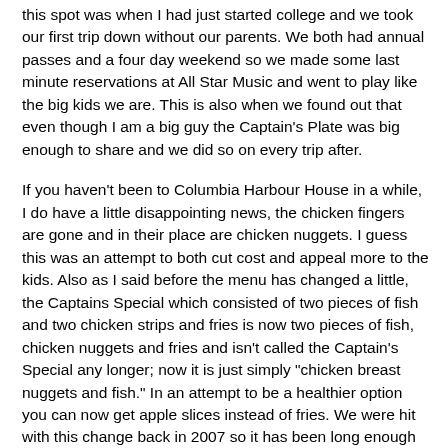this spot was when I had just started college and we took our first trip down without our parents. We both had annual passes and a four day weekend so we made some last minute reservations at All Star Music and went to play like the big kids we are. This is also when we found out that even though I am a big guy the Captain's Plate was big enough to share and we did so on every trip after.

If you haven't been to Columbia Harbour House in a while, I do have a little disappointing news, the chicken fingers are gone and in their place are chicken nuggets. I guess this was an attempt to both cut cost and appeal more to the kids. Also as I said before the menu has changed a little, the Captains Special which consisted of two pieces of fish and two chicken strips and fries is now two pieces of fish, chicken nuggets and fries and isn't called the Captain's Special any longer; now it is just simply "chicken breast nuggets and fish." In an attempt to be a healthier option you can now get apple slices instead of fries. We were hit with this change back in 2007 so it has been long enough to get over it, but we'll always remember the good times. The food here is on par with everything else in the park at a quick service